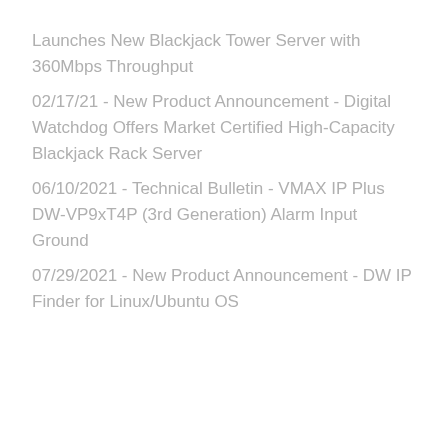Launches New Blackjack Tower Server with 360Mbps Throughput
02/17/21 - New Product Announcement - Digital Watchdog Offers Market Certified High-Capacity Blackjack Rack Server
06/10/2021 - Technical Bulletin - VMAX IP Plus DW-VP9xT4P (3rd Generation) Alarm Input Ground
07/29/2021 - New Product Announcement - DW IP Finder for Linux/Ubuntu OS